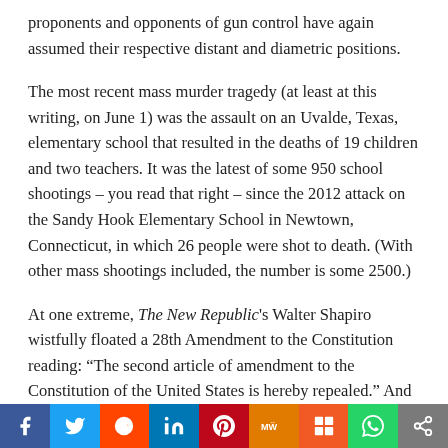proponents and opponents of gun control have again assumed their respective distant and diametric positions.
The most recent mass murder tragedy (at least at this writing, on June 1) was the assault on an Uvalde, Texas, elementary school that resulted in the deaths of 19 children and two teachers. It was the latest of some 950 school shootings – you read that right – since the 2012 attack on the Sandy Hook Elementary School in Newtown, Connecticut, in which 26 people were shot to death. (With other mass shootings included, the number is some 2500.)
At one extreme, The New Republic's Walter Shapiro wistfully floated a 28th Amendment to the Constitution reading: “The second article of amendment to the Constitution of the United States is hereby repealed.” And it’s not only “libs” who feel that way. Conservative columnist Bret Stephens has